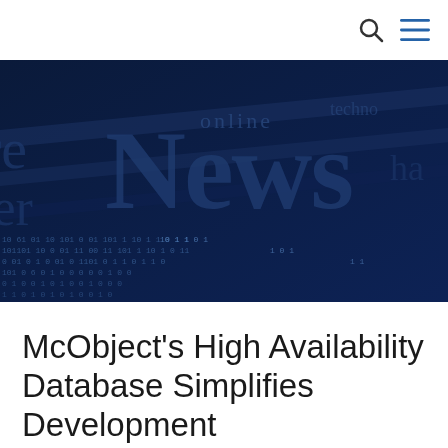[Figure (photo): Dark navy blue background image of a newspaper with the word 'News' prominently displayed in large serif font, with the word 'online' above it and other partial text visible. Binary code (0s and 1s) overlays the lower portion of the image, giving a digital/technology feel.]
McObject's High Availability Database Simplifies Development